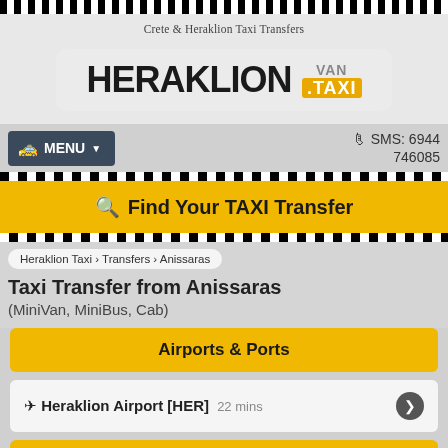Crete & Heraklion Taxi Transfers
[Figure (logo): Heraklion Van Taxi logo — HERAKLION in large black text with VAN TAXI badge in grey and yellow]
MENU  SMS: 6944 746085
Find Your TAXI Transfer
Heraklion Taxi › Transfers › Anissaras
Taxi Transfer from Anissaras
(MiniVan, MiniBus, Cab)
Airports & Ports
✈ Heraklion Airport [HER] 22 mins
📍 Anissaras